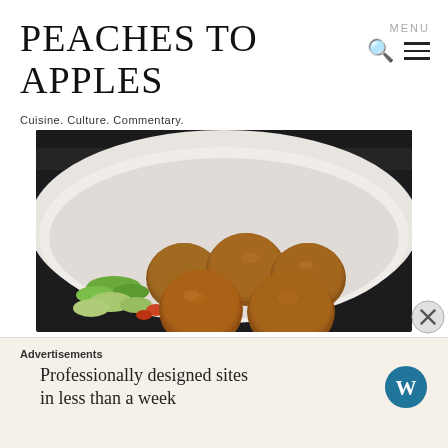Peaches to Apples
Cuisine. Culture. Commentary.
MENU
[Figure (photo): A white bowl containing several golden-brown meatballs alongside chopped green and red vegetables, photographed against a dark stovetop background.]
Advertisements
Professionally designed sites in less than a week